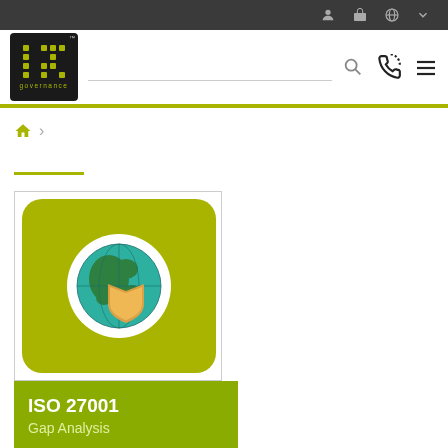[Figure (screenshot): IT Governance website screenshot showing navigation bar, logo, search field, breadcrumb, and ISO 27001 Gap Analysis product card with globe and shield icon on lime-green background]
ISO 27001 Gap Analysis